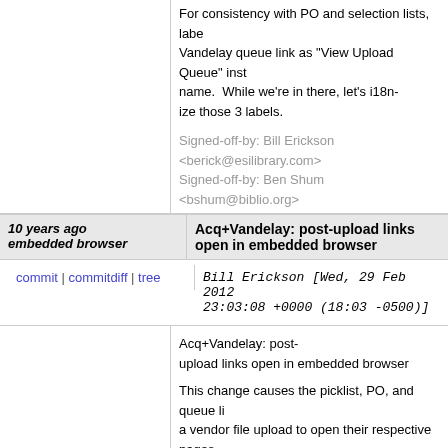For consistency with PO and selection lists, label the Vandelay queue link as "View Upload Queue" instead of the old name. While we're in there, let's i18n-ize those 3 labels.

Signed-off-by: Bill Erickson <berick@esilibrary.com>
Signed-off-by: Ben Shum <bshum@biblio.org>
10 years ago embedded browser	Acq+Vandelay: post-upload links open in embedded browser
commit | commitdiff | tree	Bill Erickson [Wed, 29 Feb 2012 23:03:08 +0000 (18:03 -0500)]
Acq+Vandelay: post-upload links open in embedded browser

This change causes the picklist, PO, and queue links after a vendor file upload to open their respective pages in the embedded page wrapper. Without this, the existing page CSS is ignored and links, including href's, are grey and washed out.

Signed-off-by: Bill Erickson <berick@esilibrary.com>
Signed-off-by: Ben Shum <bshum@biblio.org>
10 years ago forms	Acq+Vandelay : skip unneeded vandeley forms